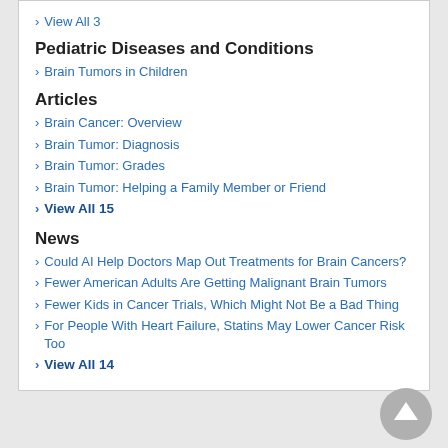View All 3
Pediatric Diseases and Conditions
Brain Tumors in Children
Articles
Brain Cancer: Overview
Brain Tumor: Diagnosis
Brain Tumor: Grades
Brain Tumor: Helping a Family Member or Friend
View All 15
News
Could AI Help Doctors Map Out Treatments for Brain Cancers?
Fewer American Adults Are Getting Malignant Brain Tumors
Fewer Kids in Cancer Trials, Which Might Not Be a Bad Thing
For People With Heart Failure, Statins May Lower Cancer Risk Too
View All 14